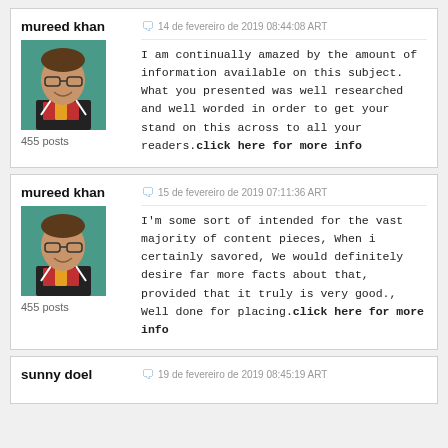mureed khan
455 posts
14 de fevereiro de 2019 08:44:08 ART
I am continually amazed by the amount of information available on this subject. What you presented was well researched and well worded in order to get your stand on this across to all your readers.click here for more info
mureed khan
455 posts
15 de fevereiro de 2019 07:11:36 ART
I'm some sort of intended for the vast majority of content pieces, When i certainly savored, We would definitely desire far more facts about that, provided that it truly is very good., Well done for placing.click here for more info
sunny doel
19 de fevereiro de 2019 08:45:19 ART